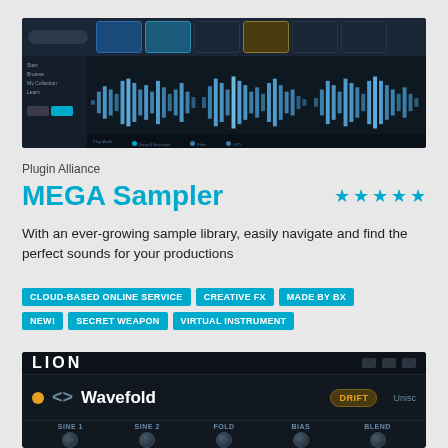[Figure (screenshot): Screenshot of Plugin Alliance MEGA Sampler DAW interface showing waveform audio files in a dark-themed browser]
Plugin Alliance
MEGA Sampler
With an ever-growing sample library, easily navigate and find the perfect sounds for your productions
CLOUD-BASED ONLINE SERVICE
CREATIVE FX
MADE BY BX
NEW!
SECRET WEAPON
VIRTUAL INSTRUMENT
[Figure (screenshot): Screenshot of LION synthesizer plugin showing Wavefold module with DRIFT button, SINE 1, SINE 2, FOLD, BIAS, BLEND labels]